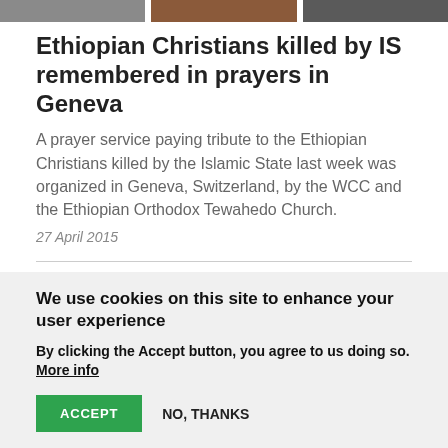[Figure (photo): Top strip showing partial news article thumbnail images]
Ethiopian Christians killed by IS remembered in prayers in Geneva
A prayer service paying tribute to the Ethiopian Christians killed by the Islamic State last week was organized in Geneva, Switzerland, by the WCC and the Ethiopian Orthodox Tewahedo Church.
27 April 2015
1 2 3 →
We use cookies on this site to enhance your user experience
By clicking the Accept button, you agree to us doing so. More info
ACCEPT   NO, THANKS